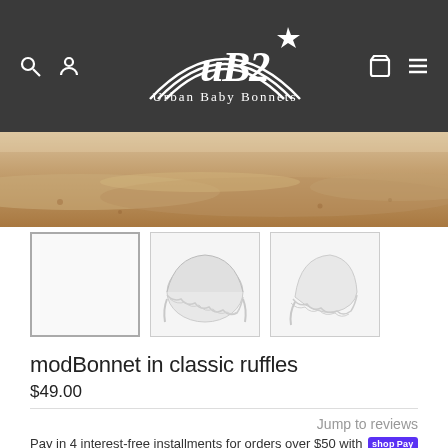Urban Baby Bonnets (UB2) navigation bar with logo, search, account, cart, and menu icons
[Figure (photo): Close-up photo of sand at a beach, brownish tan texture]
[Figure (photo): Three product thumbnail images of a white baby bonnet with ruffles; first thumbnail is selected/active]
modBonnet in classic ruffles
$49.00
Jump to reviews
Pay in 4 interest-free installments for orders over $50 with shop Pay  Learn more